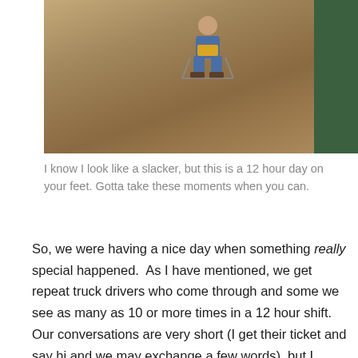[Figure (photo): Outdoor photo showing a person sitting in a folding chair on a dirt/sandy area, with a green structure or dumpster visible on the right side of the image.]
I know I look like a slacker, but this is a 12 hour day on your feet. Gotta take these moments when you can.
So, we were having a nice day when something really special happened. As I have mentioned, we get repeat truck drivers who come through and some we see as many as 10 or more times in a 12 hour shift. Our conversations are very short (I get their ticket and say hi and we may exchange a few words), but I always try to be nice, no matter how I feel, because it's not their fault it's cold, or raining, or whatever. So I went to get this one driver's ticket and he had a piece of paper in his hand. He